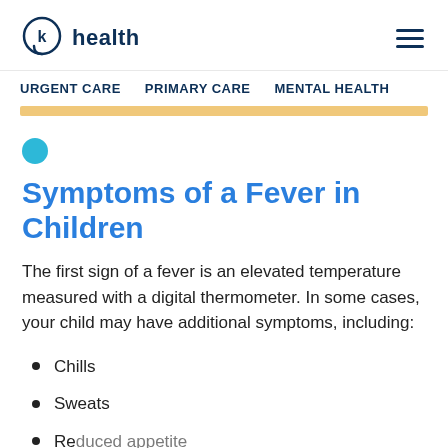k health
URGENT CARE   PRIMARY CARE   MENTAL HEALTH
Symptoms of a Fever in Children
The first sign of a fever is an elevated temperature measured with a digital thermometer. In some cases, your child may have additional symptoms, including:
Chills
Sweats
Reduced appetite